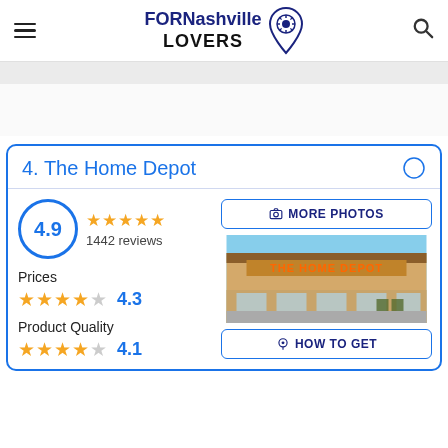FOR Nashville LOVERS
4. The Home Depot
4.9 · 1442 reviews
Prices · 4.3
Product Quality · 4.1
[Figure (photo): The Home Depot store exterior photo]
MORE PHOTOS
HOW TO GET